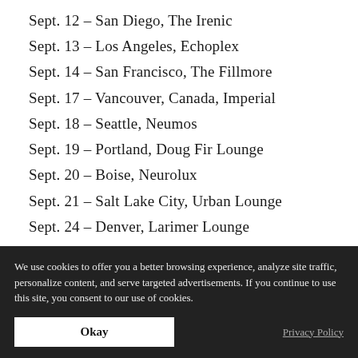Sept. 12 – San Diego, The Irenic
Sept. 13 – Los Angeles, Echoplex
Sept. 14 – San Francisco, The Fillmore
Sept. 17 – Vancouver, Canada, Imperial
Sept. 18 – Seattle, Neumos
Sept. 19 – Portland, Doug Fir Lounge
Sept. 20 – Boise, Neurolux
Sept. 21 – Salt Lake City, Urban Lounge
Sept. 24 – Denver, Larimer Lounge
Sept. 26 – Dallas, Club Dada
Sept. 27 – Austin, Barracuda
We use cookies to offer you a better browsing experience, analyze site traffic, personalize content, and serve targeted advertisements. If you continue to use this site, you consent to our use of cookies.
Okay
Privacy Policy